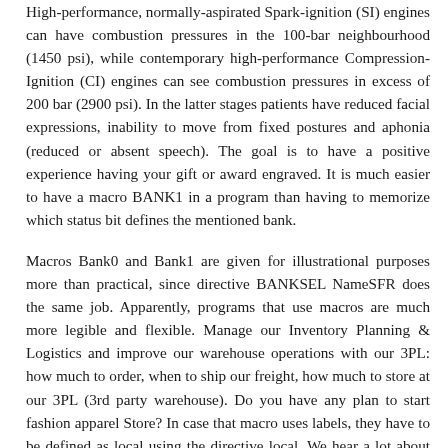High-performance, normally-aspirated Spark-ignition (SI) engines can have combustion pressures in the 100-bar neighbourhood (1450 psi), while contemporary high-performance Compression-Ignition (CI) engines can see combustion pressures in excess of 200 bar (2900 psi). In the latter stages patients have reduced facial expressions, inability to move from fixed postures and aphonia (reduced or absent speech). The goal is to have a positive experience having your gift or award engraved. It is much easier to have a macro BANK1 in a program than having to memorize which status bit defines the mentioned bank.
Macros Bank0 and Bank1 are given for illustrational purposes more than practical, since directive BANKSEL NameSFR does the same job. Apparently, programs that use macros are much more legible and flexible. Manage our Inventory Planning & Logistics and improve our warehouse operations with our 3PL: how much to order, when to ship our freight, how much to store at our 3PL (3rd party warehouse). Do you have any plan to start fashion apparel Store? In case that macro uses labels, they have to be defined as local using the directive local. We hear a lot about supporting local but what are the reasons for buying Australian-made compared to a (sometimes cheaper) import? They also take longer to dry as compared to other fabrics. Selling key products that are the envy of the entire world that everyone wants will take hard work and vision. The marketers take time in providing detailed information for us and take a minimum of 10 or 15 minutes to explain about the product. Main drawback of macros is the amount of memory used – every time macro name is encountered in the program